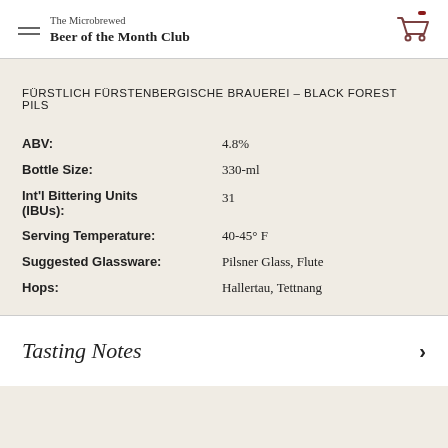The Microbrewed Beer of the Month Club
FÜRSTLICH FÜRSTENBERGISCHE BRAUEREI – BLACK FOREST PILS
| Attribute | Value |
| --- | --- |
| ABV: | 4.8% |
| Bottle Size: | 330-ml |
| Int'l Bittering Units (IBUs): | 31 |
| Serving Temperature: | 40-45° F |
| Suggested Glassware: | Pilsner Glass, Flute |
| Hops: | Hallertau, Tettnang |
Tasting Notes